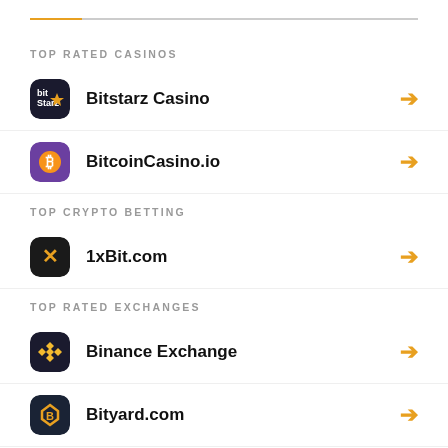TOP RATED CASINOS
Bitstarz Casino
BitcoinCasino.io
TOP CRYPTO BETTING
1xBit.com
TOP RATED EXCHANGES
Binance Exchange
Bityard.com
TOP ADVERTISING SERVICES
Coinzilla Display Network
TOP CRYPTO WALLETS